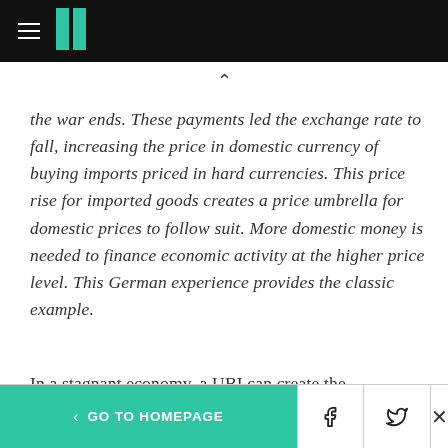HuffPost logo navigation bar
the war ends. These payments led the exchange rate to fall, increasing the price in domestic currency of buying imports priced in hard currencies. This price rise for imported goods creates a price umbrella for domestic prices to follow suit. More domestic money is needed to finance economic activity at the higher price level. This German experience provides the classic example.
In a stagnant economy, a UBI can create the
< GO TO HOMEPAGE